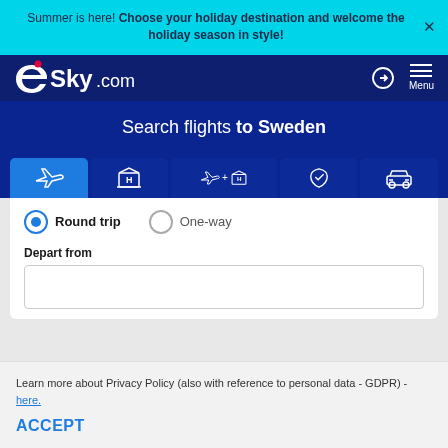Summer is here! Choose your holiday destination and welcome the holiday season in style!
[Figure (logo): eSky.com logo in white on dark blue navbar]
Search flights to Sweden
[Figure (infographic): Tab icons: airplane (active), hotel H, airplane+hotel, umbrella/insurance, car rental]
Round trip
One-way
Depart from
Learn more about Privacy Policy (also with reference to personal data - GDPR) - here.
Accept